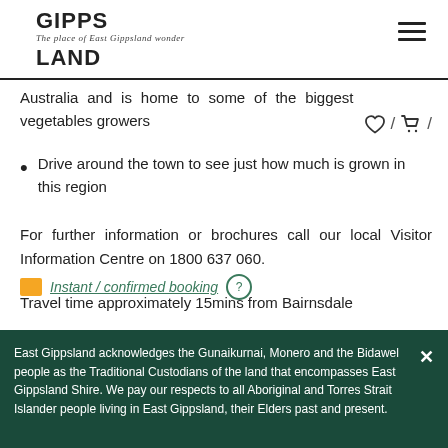GIPPS LAND — The place of East Gippsland wonder
Australia and is home to some of the biggest vegetables growers
Drive around the town to see just how much is grown in this region
For further information or brochures call our local Visitor Information Centre on 1800 637 060.
Travel time approximately 15mins from Bairnsdale
Instant / confirmed booking
East Gippsland acknowledges the Gunaikurnai, Monero and the Bidawel people as the Traditional Custodians of the land that encompasses East Gippsland Shire. We pay our respects to all Aboriginal and Torres Strait Islander people living in East Gippsland, their Elders past and present.